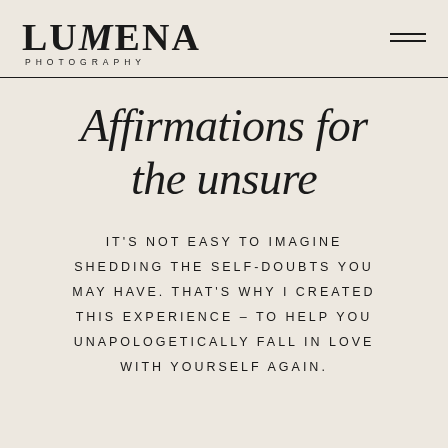LUMENA PHOTOGRAPHY
Affirmations for the unsure
IT'S NOT EASY TO IMAGINE SHEDDING THE SELF-DOUBTS YOU MAY HAVE. THAT'S WHY I CREATED THIS EXPERIENCE – TO HELP YOU UNAPOLOGETICALLY FALL IN LOVE WITH YOURSELF AGAIN.